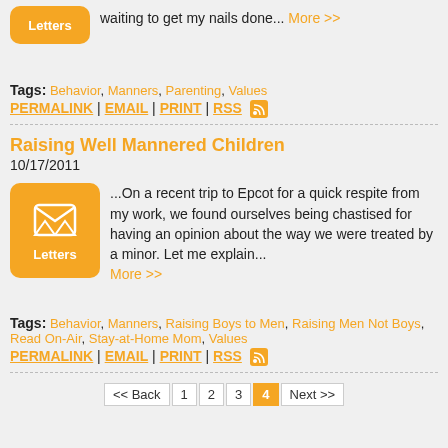...waiting to get my nails done... More >>
Tags: Behavior, Manners, Parenting, Values
PERMALINK | EMAIL | PRINT | RSS
Raising Well Mannered Children
10/17/2011
...On a recent trip to Epcot for a quick respite from my work, we found ourselves being chastised for having an opinion about the way we were treated by a minor. Let me explain... More >>
Tags: Behavior, Manners, Raising Boys to Men, Raising Men Not Boys, Read On-Air, Stay-at-Home Mom, Values
PERMALINK | EMAIL | PRINT | RSS
<< Back | 1 | 2 | 3 | 4 | Next >>